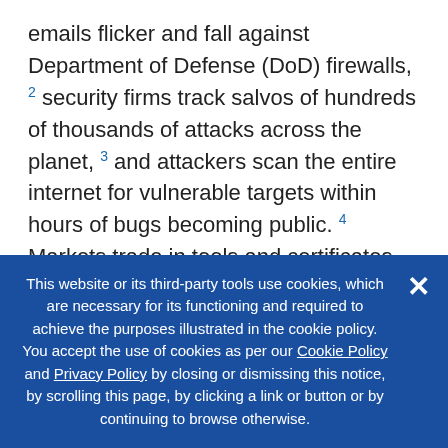emails flicker and fall against Department of Defense (DoD) firewalls,² security firms track salvos of hundreds of thousands of attacks across the planet,³ and attackers scan the entire internet for vulnerable targets within hours of bugs becoming public.⁴ Markets trade in tools and certificates for offensive use and churn billions of dollars’ worth of products ranging from basic keyloggers to exploit suites built by the National Security Agency (NSA).⁵ Meanwhile, legislation aims to harvest zero-days at their source, diverting them from industry to government use.⁶ All this activity persists—and by
This website or its third-party tools use cookies, which are necessary for its functioning and required to achieve the purposes illustrated in the cookie policy. You accept the use of cookies as per our Cookie Policy and Privacy Policy by closing or dismissing this notice, by scrolling this page, by clicking a link or button or by continuing to browse otherwise.